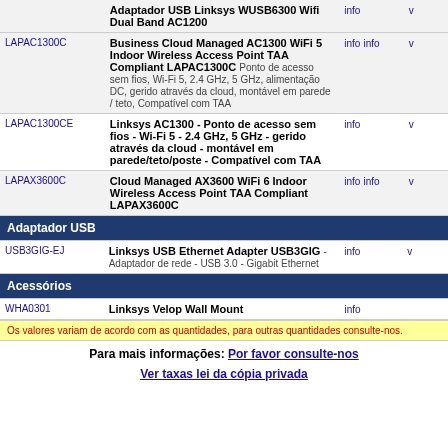| SKU | Description | Links | Extra |
| --- | --- | --- | --- |
| WUSB6300 / ... | Adaptador USB Linksys WUSB6300 Wifi Dual Band AC1200 | info | v |
| LAPAC1300C | Business Cloud Managed AC1300 WiFi 5 Indoor Wireless Access Point TAA Compliant LAPAC1300C - Ponto de acesso sem fios, Wi-Fi 5, 2.4 GHz, 5 GHz, alimentação DC, gerido através da cloud, montável em parede / teto, Compatível com TAA | info info | v |
| LAPAC1300CE | Linksys AC1300 - Ponto de acesso sem fios - Wi-Fi 5 - 2.4 GHz, 5 GHz - gerido através da cloud - montável em parede/teto/poste - Compatível com TAA | info | v |
| LAPAX3600C | Cloud Managed AX3600 WiFi 6 Indoor Wireless Access Point TAA Compliant LAPAX3600C | info info | v |
Adaptador USB
| SKU | Description | Links | Extra |
| --- | --- | --- | --- |
| USB3GIG-EJ | Linksys USB Ethernet Adapter USB3GIG - Adaptador de rede - USB 3.0 - Gigabit Ethernet | info | v |
Acessórios
| SKU | Description | Links | Extra |
| --- | --- | --- | --- |
| WHA0301 | Linksys Velop Wall Mount | info |  |
Os valores variam de acordo com as quantidades, para outras quantidades consulte-nos.
Para mais informações: Por favor consulte-nos
Ver taxas lei da cópia privada